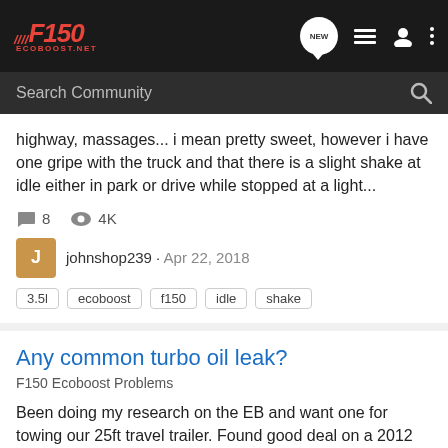F150 ECOBOOST.NET
highway, massages... i mean pretty sweet, however i have one gripe with the truck and that there is a slight shake at idle either in park or drive while stopped at a light...
8 comments · 4K views · johnshop239 · Apr 22, 2018 · Tags: 3.5l, ecoboost, f150, idle, shake
Any common turbo oil leak?
F150 Ecoboost Problems
Been doing my research on the EB and want one for towing our 25ft travel trailer. Found good deal on a 2012 King Ranch with 130K miles...has enough nicks and dings that it's no longer a show queen. I did note at the dealership (auction